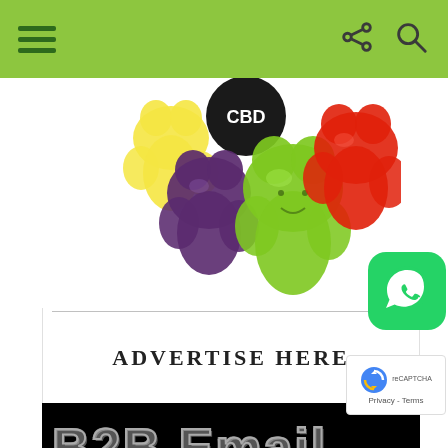Navigation header with hamburger menu and icons
[Figure (photo): Colorful gummy bear candies with a black circular CBD label on top, showing purple, green, yellow, and red gummy bears]
ADVERTISE HERE
[Figure (photo): Black banner with metallic silver 3D text reading 'B2B Email List' and white text below reading '100s of Industries']
[Figure (logo): WhatsApp icon button (green rounded square with white phone/speech bubble logo)]
[Figure (screenshot): reCAPTCHA badge with spinning logo and 'Privacy - Terms' text]